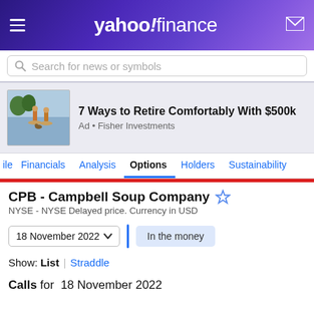yahoo! finance
Search for news or symbols
[Figure (illustration): Ad banner showing two people fishing on paddleboards with a dog, promoting Fisher Investments retirement advice]
7 Ways to Retire Comfortably With $500k
Ad • Fisher Investments
ile  Financials  Analysis  Options  Holders  Sustainability
CPB - Campbell Soup Company
NYSE - NYSE Delayed price. Currency in USD
18 November 2022   In the money
Show:  List  |  Straddle
Calls  for  18 November 2022